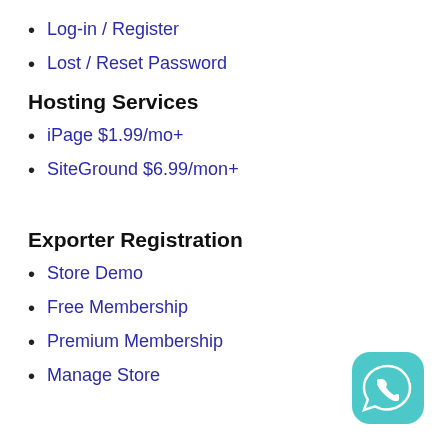Log-in / Register
Lost / Reset Password
Hosting Services
iPage $1.99/mo+
SiteGround $6.99/mon+
Exporter Registration
Store Demo
Free Membership
Premium Membership
Manage Store
[Figure (logo): WhatsApp chat button icon — teal circle with white phone/speech bubble icon]